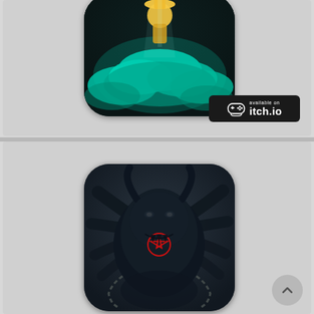[Figure (screenshot): Top section showing a game app icon with teal/cyan clouds and a character above them on dark background, with an itch.io availability badge in bottom right]
[Figure (screenshot): Bottom section showing a game app icon featuring a dark demon/monster creature with red pentagram symbol on chest, fangs, horns, tentacles and chains on dark blue-grey background]